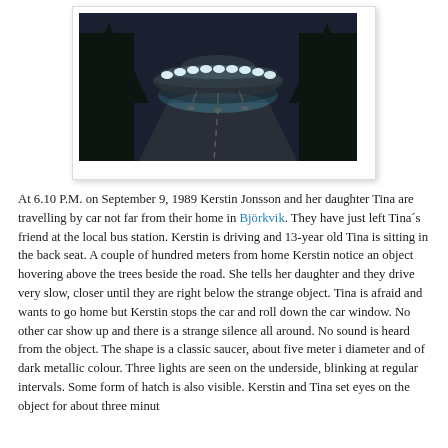[Figure (photo): Illustration of a classic flying saucer UFO hovering above a dark road at night, surrounded by trees. The craft is disc-shaped and dark with a row of glowing white oval lights around its upper rim. There are landing legs visible beneath it. The scene is dramatic and dark.]
At 6.10 P.M. on September 9, 1989 Kerstin Jonsson and her daughter Tina are travelling by car not far from their home in Björkvik. They have just left Tina´s friend at the local bus station. Kerstin is driving and 13-year old Tina is sitting in the back seat. A couple of hundred meters from home Kerstin notice an object hovering above the trees beside the road. She tells her daughter and they drive very slow, closer until they are right below the strange object. Tina is afraid and wants to go home but Kerstin stops the car and roll down the car window. No other car show up and there is a strange silence all around. No sound is heard from the object. The shape is a classic saucer, about five meter i diameter and of dark metallic colour. Three lights are seen on the underside, blinking at regular intervals. Some form of hatch is also visible. Kerstin and Tina set eyes on the object for about three minut